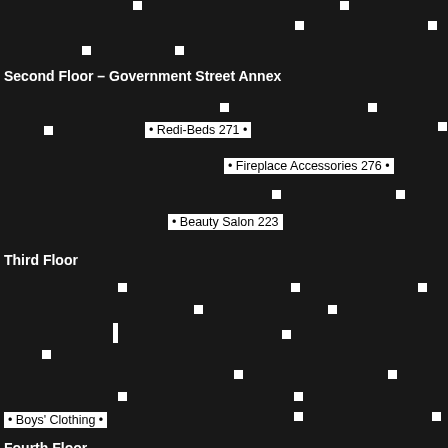[Figure (map): Floor plan map of a multi-storey building (Government Street Annex) with white dots indicating store locations and labeled sections for Second Floor, Third Floor, and Fourth Floor. Labels include Redi-Beds 271, Fireplace Accessories 276, Beauty Salon 223, Boys' Clothing, Victoria Room Restaurant, Hearing Aid Centre 421, and Optical 221.]
Second Floor – Government Street Annex
• Redi-Beds 271 •
• Fireplace Accessories 276 •
• Beauty Salon 223
Third Floor
• Boys' Clothing •
Fourth Floor
Victoria Room Restaurant • Hearing Aid Centre 421 • Optical 221